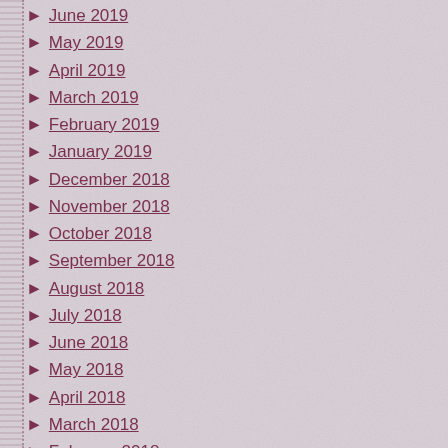June 2019
May 2019
April 2019
March 2019
February 2019
January 2019
December 2018
November 2018
October 2018
September 2018
August 2018
July 2018
June 2018
May 2018
April 2018
March 2018
February 2018
January 2018
December 2017
November 2017
October 2017
September 2017